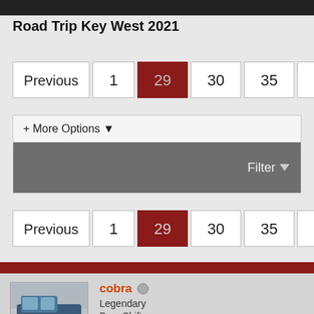Road Trip Key West 2021
[Figure (screenshot): Pagination controls: Previous, 1, 29 (active/highlighted in dark red), 30, 35, Next]
[Figure (screenshot): Filter options panel with '+ More Options' dropdown toggle and a dark gray Filter bar with Filter button]
[Figure (screenshot): Second pagination controls: Previous, 1, 29 (active/highlighted in dark red), 30, 35, Next]
[Figure (screenshot): User profile card for 'cobra' - Legendary BangShifter, Join Date: Jan 2008, with car avatar image and orange pip reputation bar]